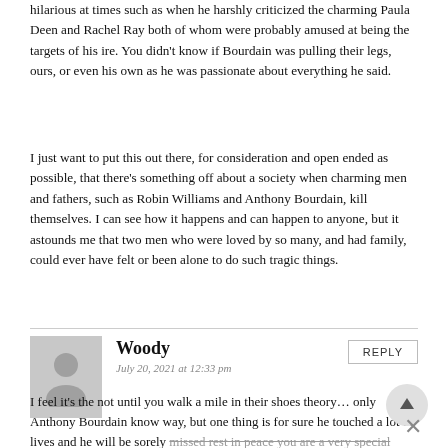hilarious at times such as when he harshly criticized the charming Paula Deen and Rachel Ray both of whom were probably amused at being the targets of his ire. You didn't know if Bourdain was pulling their legs, ours, or even his own as he was passionate about everything he said.
I just want to put this out there, for consideration and open ended as possible, that there's something off about a society when charming men and fathers, such as Robin Williams and Anthony Bourdain, kill themselves. I can see how it happens and can happen to anyone, but it astounds me that two men who were loved by so many, and had family, could ever have felt or been alone to do such tragic things.
Woody
July 20, 2021 at 12:33 pm
REPLY
I feel it's the not until you walk a mile in their shoes theory… only Anthony Bourdain know way, but one thing is for sure he touched a lot of lives and he will be sorely missed rest in peace you are a very special person!